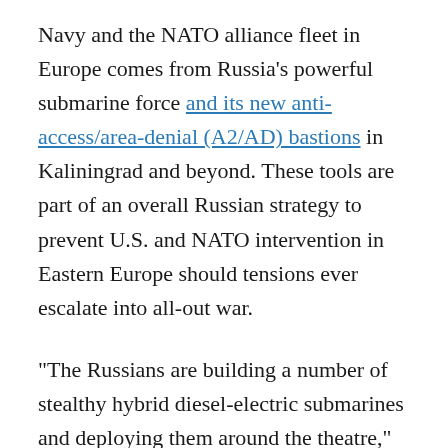Navy and the NATO alliance fleet in Europe comes from Russia’s powerful submarine force and its new anti-access/area-denial (A2/AD) bastions in Kaliningrad and beyond. These tools are part of an overall Russian strategy to prevent U.S. and NATO intervention in Eastern Europe should tensions ever escalate into all-out war.
“The Russians are building a number of stealthy hybrid diesel-electric submarines and deploying them around the theatre,” Vice Adm. James G. Foggo III, who is simultaneously commander of the U.S. Navy’s 6th Fleet, Joint Force Maritime Component Commander Europe and